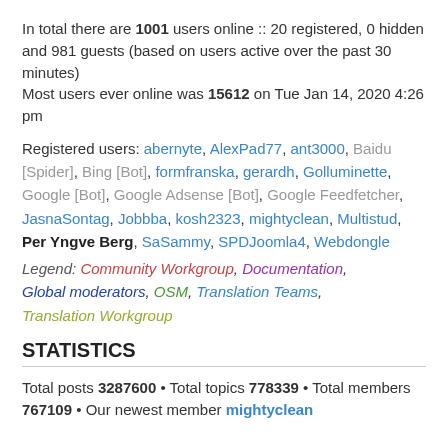In total there are 1001 users online :: 20 registered, 0 hidden and 981 guests (based on users active over the past 30 minutes)
Most users ever online was 15612 on Tue Jan 14, 2020 4:26 pm
Registered users: abernyte, AlexPad77, ant3000, Baidu [Spider], Bing [Bot], formfranska, gerardh, Golluminette, Google [Bot], Google Adsense [Bot], Google Feedfetcher, JasnaSontag, Jobbba, kosh2323, mightyclean, Multistud, Per Yngve Berg, SaSammy, SPDJoomla4, Webdongle
Legend: Community Workgroup, Documentation, Global moderators, OSM, Translation Teams, Translation Workgroup
STATISTICS
Total posts 3287600 • Total topics 778339 • Total members 767109 • Our newest member mightyclean